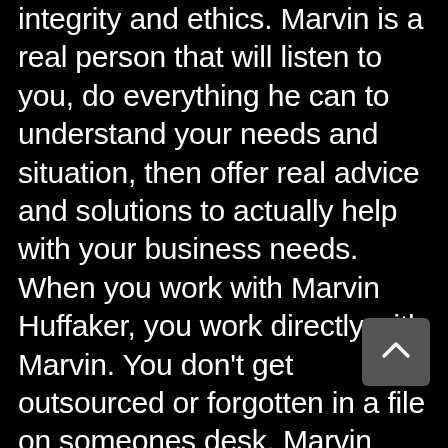integrity and ethics. Marvin is a real person that will listen to you, do everything he can to understand your needs and situation, then offer real advice and solutions to actually help with your business needs. When you work with Marvin Huffaker, you work directly with Marvin. You don't get outsourced or forgotten in a file on someones desk. Marvin always puts people first and responds in a prompt, professional, and courteous manner. By choice, Marvin only works with a limited number of companies to ensure a high quality